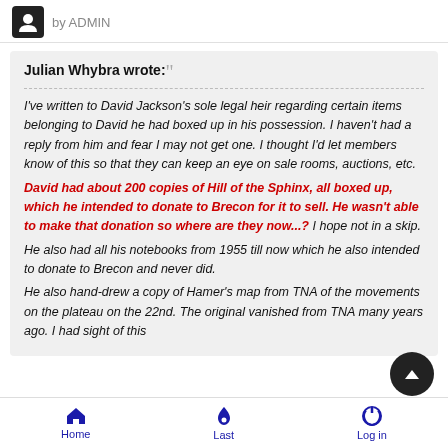by ADMIN
Julian Whybra wrote:
I've written to David Jackson's sole legal heir regarding certain items belonging to David he had boxed up in his possession.  I haven't had a reply from him and fear I may not get one.  I thought I'd let members know of this so that they can keep an eye on sale rooms, auctions, etc.
David had about 200 copies of Hill of the Sphinx, all boxed up, which he intended to donate to Brecon for it to sell.  He wasn't able to make that donation so where are they now...?  I hope not in a skip.
He also had all his notebooks from 1955 till now which he also intended to donate to Brecon and never did.
He also hand-drew a copy of Hamer's map from TNA of the movements on the plateau on the 22nd.  The original vanished from TNA many years ago.  I had sight of this
Home | Last | Log in